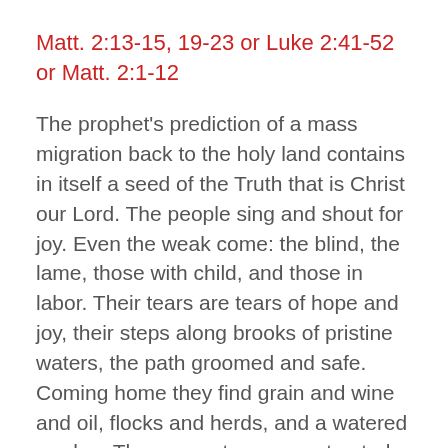Matt. 2:13-15, 19-23 or Luke 2:41-52 or Matt. 2:1-12
The prophet's prediction of a mass migration back to the holy land contains in itself a seed of the Truth that is Christ our Lord. The people sing and shout for joy. Even the weak come: the blind, the lame, those with child, and those in labor. Their tears are tears of hope and joy, their steps along brooks of pristine waters, the path groomed and safe. Coming home they find grain and wine and oil, flocks and herds, and a watered garden. They come to a reconstructed paradise peopled by a